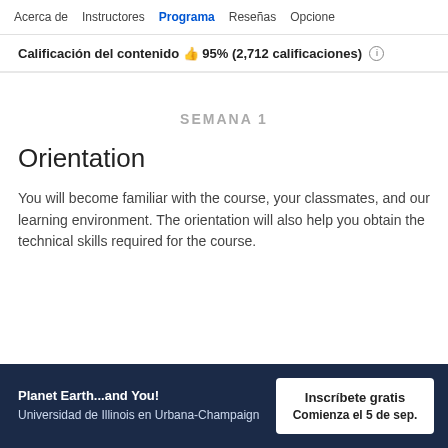Acerca de   Instructores   Programa   Reseñas   Opcione
Calificación del contenido 👍 95% (2,712 calificaciones) ℹ
SEMANA 1
Orientation
You will become familiar with the course, your classmates, and our learning environment. The orientation will also help you obtain the technical skills required for the course.
Planet Earth...and You! Universidad de Illinois en Urbana-Champaign | Inscríbete gratis Comienza el 5 de sep.